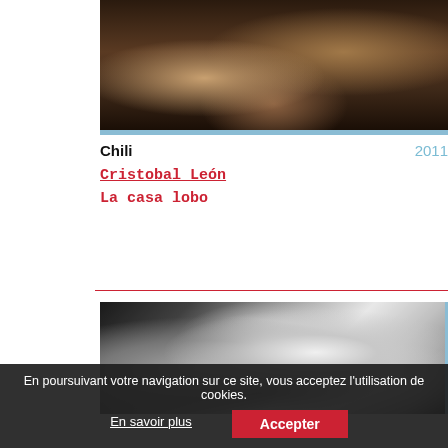[Figure (photo): Dark-toned photograph, brownish-orange tones, appears to show figures or faces in shadow]
Chili
2011
Cristobal León
La casa lobo
[Figure (illustration): Black and white painted/illustrated portrait of an elderly man's face with expressive brushstroke style]
En poursuivant votre navigation sur ce site, vous acceptez l’utilisation de cookies.
En savoir plus
Accepter